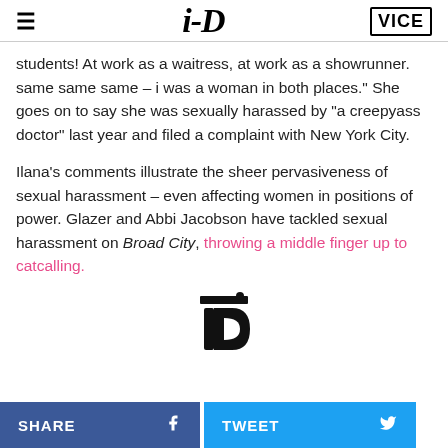i-D | VICE
students! At work as a waitress, at work as a showrunner. same same same – i was a woman in both places." She goes on to say she was sexually harassed by "a creepyass doctor" last year and filed a complaint with New York City.
Ilana's comments illustrate the sheer pervasiveness of sexual harassment – even affecting women in positions of power. Glazer and Abbi Jacobson have tackled sexual harassment on Broad City, throwing a middle finger up to catcalling.
[Figure (logo): i-D magazine logo centered on page]
SHARE | TWEET